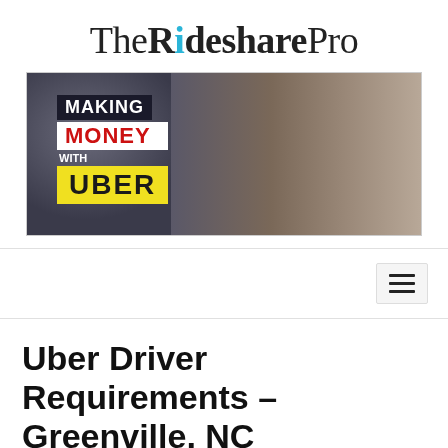The Rideshare Pro
[Figure (photo): Promotional banner showing a smiling man in a car with overlay text: MAKING MONEY WITH UBER]
Uber Driver Requirements – Greenville, NC